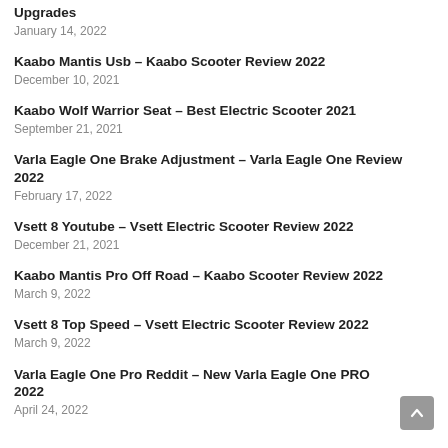Upgrades
January 14, 2022
Kaabo Mantis Usb – Kaabo Scooter Review 2022
December 10, 2021
Kaabo Wolf Warrior Seat – Best Electric Scooter 2021
September 21, 2021
Varla Eagle One Brake Adjustment – Varla Eagle One Review 2022
February 17, 2022
Vsett 8 Youtube – Vsett Electric Scooter Review 2022
December 21, 2021
Kaabo Mantis Pro Off Road – Kaabo Scooter Review 2022
March 9, 2022
Vsett 8 Top Speed – Vsett Electric Scooter Review 2022
March 9, 2022
Varla Eagle One Pro Reddit – New Varla Eagle One PRO 2022
April 24, 2022